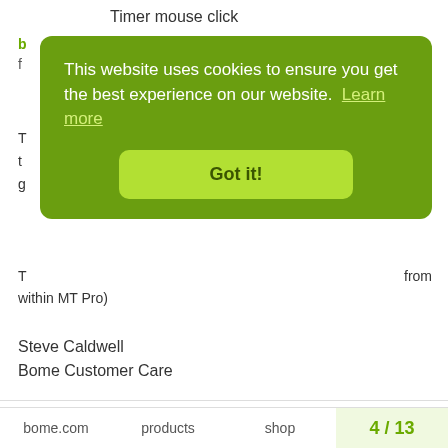Timer mouse click
b
f
T
t
g
T
from
within MT Pro)
Steve Caldwell
Bome Customer Care
Also available for paid consulting services: bome@sniz.biz
[Figure (screenshot): Cookie consent banner overlay with green background reading 'This website uses cookies to ensure you get the best experience on our website. Learn more' and a 'Got it!' button]
topsudio1979
Jan '21
works great  thanks mate
bome.com   products   shop   4 / 13